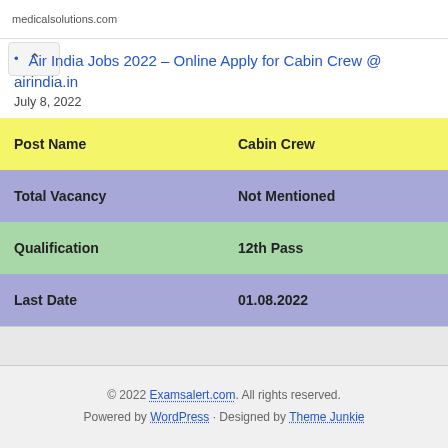medicalsolutions.com
Air India Jobs 2022 – Online Apply for Cabin Crew @ airindia.in
July 8, 2022
| Post Name | Cabin Crew |
| --- | --- |
| Total Vacancy | Not Mentioned |
| Qualification | 12th Pass |
| Last Date | 01.08.2022 |
© 2022 Examsalert.com. All rights reserved. Powered by WordPress · Designed by Theme Junkie